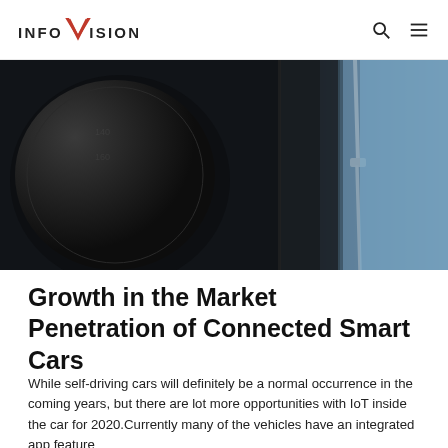INFOVISION
[Figure (photo): Close-up photo of a car interior showing a speedometer/gauge cluster and what appears to be a cable or charger against a blue sky background visible through the window]
Growth in the Market Penetration of Connected Smart Cars
While self-driving cars will definitely be a normal occurrence in the coming years, but there are lot more opportunities with IoT inside the car for 2020.Currently many of the vehicles have an integrated app feature